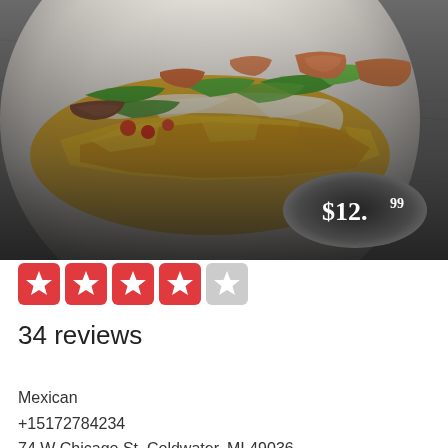[Figure (photo): Photo of nachos on a white plate with shrimp, grilled meat strips, green peppers, tomatoes, and cheese sauce. A black oval price badge shows $12.99. Background is dark gray textured surface.]
[Figure (other): 4 out of 5 star rating displayed as red filled stars (4) and one gray empty star]
34 reviews
Mexican
+15172784234
74 W Chicago St, Coldwater, MI 49036